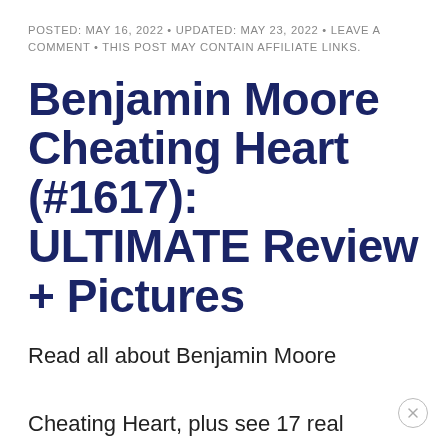POSTED: MAY 16, 2022 • UPDATED: MAY 23, 2022 • LEAVE A COMMENT • THIS POST MAY CONTAIN AFFILIATE LINKS.
Benjamin Moore Cheating Heart (#1617): ULTIMATE Review + Pictures
Read all about Benjamin Moore Cheating Heart, plus see 17 real homes that use it! Are you looking for